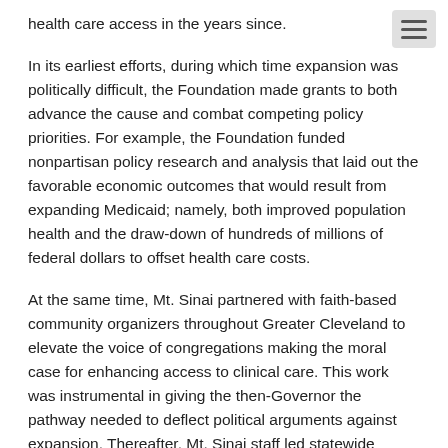health care access in the years since.
In its earliest efforts, during which time expansion was politically difficult, the Foundation made grants to both advance the cause and combat competing policy priorities. For example, the Foundation funded nonpartisan policy research and analysis that laid out the favorable economic outcomes that would result from expanding Medicaid; namely, both improved population health and the draw-down of hundreds of millions of federal dollars to offset health care costs.
At the same time, Mt. Sinai partnered with faith-based community organizers throughout Greater Cleveland to elevate the voice of congregations making the moral case for enhancing access to clinical care. This work was instrumental in giving the then-Governor the pathway needed to deflect political arguments against expansion. Thereafter, Mt. Sinai staff led statewide efforts to support outreach and enrollment through a web of navigators